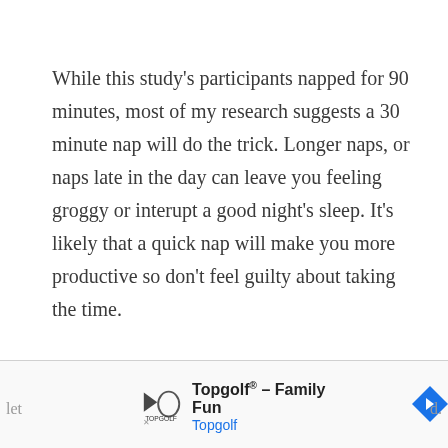While this study's participants napped for 90 minutes, most of my research suggests a 30 minute nap will do the trick. Longer naps, or naps late in the day can leave you feeling groggy or interupt a good night's sleep. It's likely that a quick nap will make you more productive so don't feel guilty about taking the time.
Close the blinds, curl up with a soft blanket and
[Figure (other): Advertisement banner for Topgolf - Family Fun by Topgolf, with logo and blue navigation arrow icon]